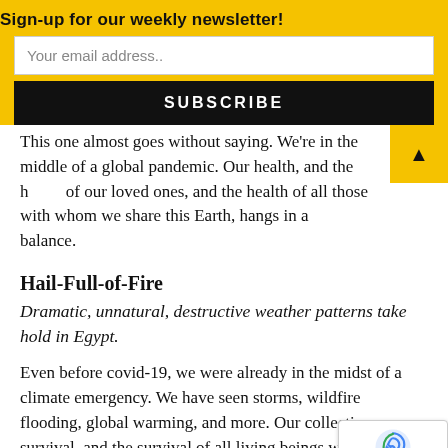Sign-up for our weekly newsletter!
Your email address..
SUBSCRIBE
This one almost goes without saying. We're in the middle of a global pandemic. Our health, and the health of our loved ones, and the health of all those with whom we share this Earth, hangs in a balance.
Hail-Full-of-Fire
Dramatic, unnatural, destructive weather patterns take hold in Egypt.
Even before covid-19, we were already in the midst of a climate emergency. We have seen storms, wildfires, flooding, global warming, and more. Our collective survival, and the survival of all living beings with whom we share this planet, rests on an immediate, systematic